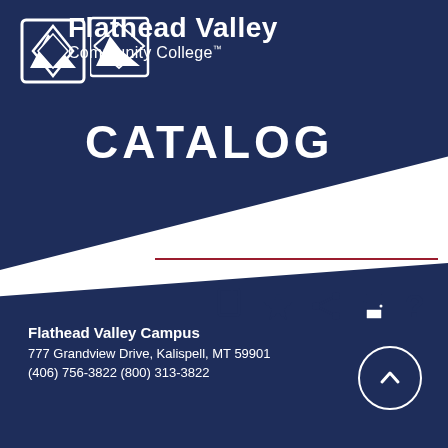[Figure (logo): Flathead Valley Community College logo with mountain/diamond icon and institution name]
CATALOG
[Figure (infographic): Toolbar icons: document, star, share, print, help]
Flathead Valley Campus
777 Grandview Drive, Kalispell, MT 59901
(406) 756-3822  (800) 313-3822
[Figure (other): Scroll-to-top button (circle with up chevron)]